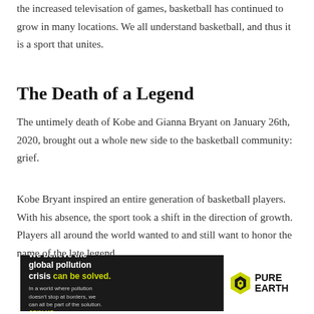the increased televisation of games, basketball has continued to grow in many locations. We all understand basketball, and thus it is a sport that unites.
The Death of a Legend
The untimely death of Kobe and Gianna Bryant on January 26th, 2020, brought out a whole new side to the basketball community: grief.
Kobe Bryant inspired an entire generation of basketball players. With his absence, the sport took a shift in the direction of growth. Players all around the world wanted to and still want to honor the name of the late legend.
[Figure (other): Advertisement banner for Pure Earth: 'We believe the global pollution crisis can be solved.' with logo and tagline 'In a world where pollution doesn't stop at borders, we can all be part of the solution. JOIN US.']